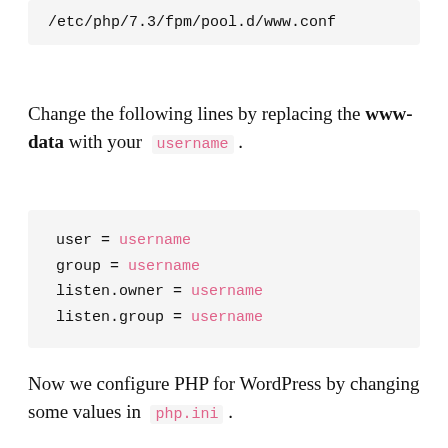/etc/php/7.3/fpm/pool.d/www.conf
Change the following lines by replacing the www-data with your username .
user = username
group = username
listen.owner = username
listen.group = username
Now we configure PHP for WordPress by changing some values in php.ini .